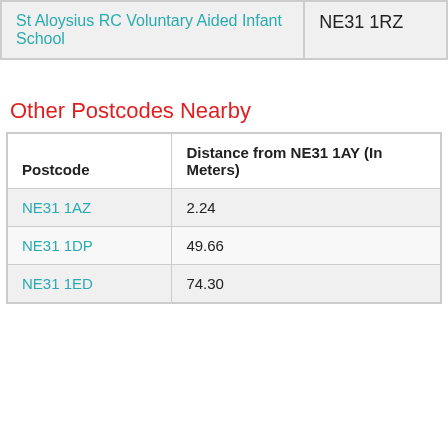|  |  |
| --- | --- |
| St Aloysius RC Voluntary Aided Infant School | NE31 1RZ |
Other Postcodes Nearby
| Postcode | Distance from NE31 1AY (In Meters) |
| --- | --- |
| NE31 1AZ | 2.24 |
| NE31 1DP | 49.66 |
| NE31 1ED | 74.30 |